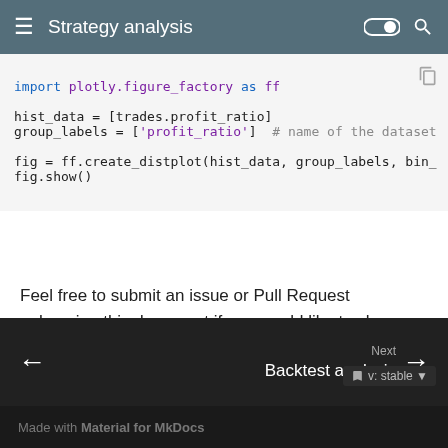Strategy analysis
import plotly.figure_factory as ff

hist_data = [trades.profit_ratio]
group_labels = ['profit_ratio']  # name of the dataset

fig = ff.create_distplot(hist_data, group_labels, bin_
fig.show()
Feel free to submit an issue or Pull Request enhancing this document if you would like to share ideas on how to best analyze the data.
Next
Backtest analysis
v: stable
Made with Material for MkDocs